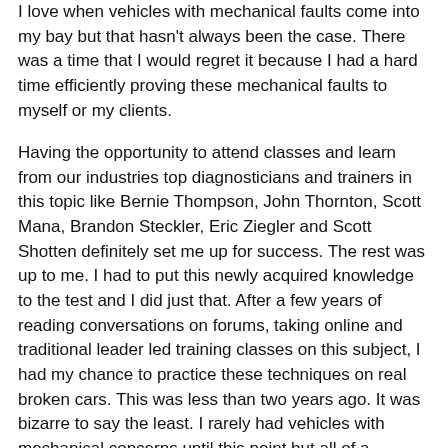I love when vehicles with mechanical faults come into my bay but that hasn't always been the case. There was a time that I would regret it because I had a hard time efficiently proving these mechanical faults to myself or my clients.
Having the opportunity to attend classes and learn from our industries top diagnosticians and trainers in this topic like Bernie Thompson, John Thornton, Scott Mana, Brandon Steckler, Eric Ziegler and Scott Shotten definitely set me up for success. The rest was up to me. I had to put this newly acquired knowledge to the test and I did just that. After a few years of reading conversations on forums, taking online and traditional leader led training classes on this subject, I had my chance to practice these techniques on real broken cars. This was less than two years ago. It was bizarre to say the least. I rarely had vehicles with mechanical concerns until this point but all of a sudden, we seemed to get one right after the other.
I really enjoyed being able to prove the failure with these mechanical test accurately, efficiently and without getting invasive ( what I call time consuming engine disassembly for verifying mechanical failures). I'll go as far to say that I love being